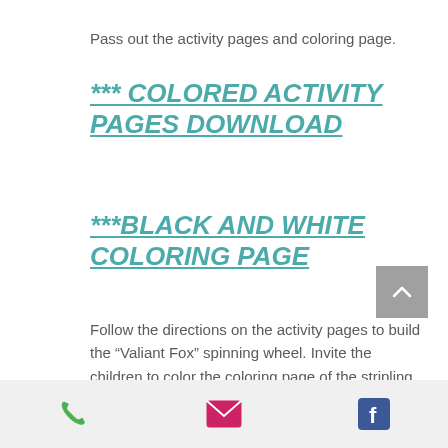Pass out the activity pages and coloring page.
*** COLORED ACTIVITY PAGES DOWNLOAD
***BLACK AND WHITE COLORING PAGE
Follow the directions on the activity pages to build the “Valiant Fox” spinning wheel. Invite the children to color the coloring page of the stripling warriors. Use the time as an opportunity to talk about being valiant in keeping the commandments of God.
[Figure (infographic): Footer bar with phone icon (green), email envelope icon (pink/red), and Facebook icon (blue)]